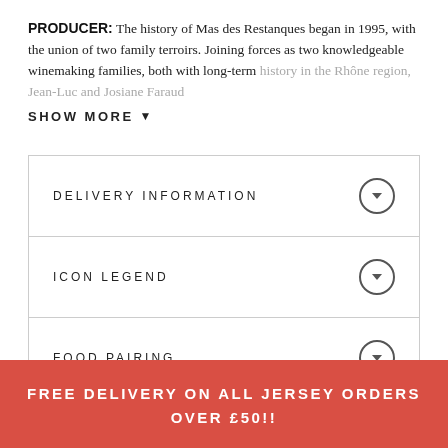PRODUCER: The history of Mas des Restanques began in 1995, with the union of two family terroirs. Joining forces as two knowledgeable winemaking families, both with long-term history in the Rhône region, Jean-Luc and Josiane Faraud
SHOW MORE
DELIVERY INFORMATION
ICON LEGEND
FOOD PAIRING
FREE DELIVERY ON ALL JERSEY ORDERS OVER £50!!